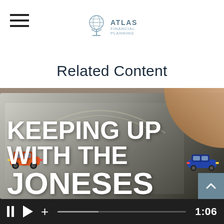Atlas Financial Planning
Related Content
[Figure (screenshot): Video thumbnail showing a tablet screen with the text 'KEEPING UP WITH THE JONESES' in large bold white letters, with animated cartoon cars visible at the bottom. A hand is seen touching the tablet screen. Below the video image are playback controls including pause, play, and add buttons, a progress bar, and a timestamp showing 1:06.]